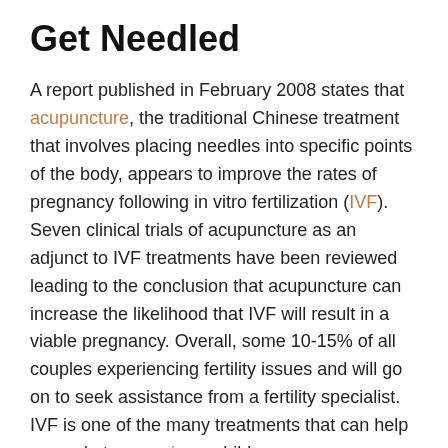Get Needled
A report published in February 2008 states that acupuncture, the traditional Chinese treatment that involves placing needles into specific points of the body, appears to improve the rates of pregnancy following in vitro fertilization (IVF). Seven clinical trials of acupuncture as an adjunct to IVF treatments have been reviewed leading to the conclusion that acupuncture can increase the likelihood that IVF will result in a viable pregnancy. Overall, some 10-15% of all couples experiencing fertility issues and will go on to seek assistance from a fertility specialist. IVF is one of the many treatments that can help a couple to conceive a child.
Retrieved and Fertilized
During in vitro fertilization, a woman's eggs are retrieved